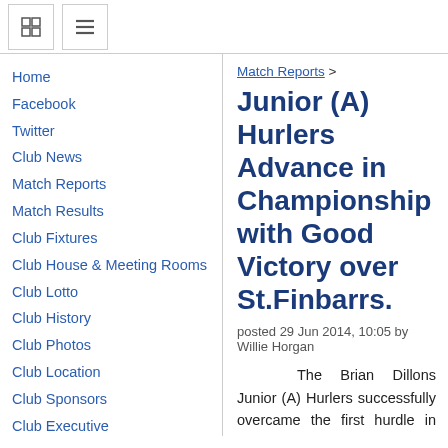[icon] [menu]
Home
Facebook
Twitter
Club News
Match Reports
Match Results
Club Fixtures
Club House & Meeting Rooms
Club Lotto
Club History
Club Photos
Club Location
Club Sponsors
Club Executive
Download Section
Camogie Section
Camogie Home
Camogie News
Code of Conduct Brian Dillons
Match Reports >
Junior (A) Hurlers Advance in Championship with Good Victory over St.Finbarrs.
posted 29 Jun 2014, 10:05 by Willie Horgan
The Brian Dillons Junior (A) Hurlers successfully overcame the first hurdle in the 2014 City Division Junior (A) Hurling Championship with a, 3-17 to 1-17,victory over St.Finbarrs , out in Ballinplough, on Saturday, 28th June